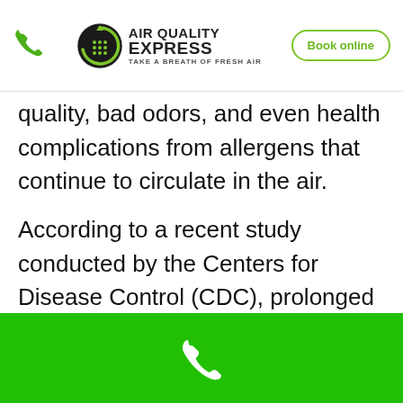Air Quality Express — Take a Breath of Fresh Air | Book online
…quality, bad odors, and even health complications from allergens that continue to circulate in the air.
According to a recent study conducted by the Centers for Disease Control (CDC), prolonged exposure to these pollutants in the air can cause health issues such as asthma, heart disease, respiratory complications, and more.
Phone contact footer